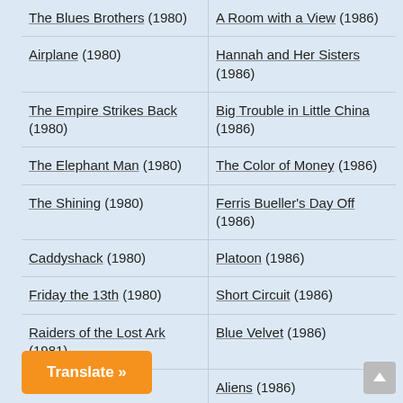The Blues Brothers (1980)
A Room with a View (1986)
Airplane (1980)
Hannah and Her Sisters (1986)
The Empire Strikes Back (1980)
Big Trouble in Little China (1986)
The Elephant Man (1980)
The Color of Money (1986)
The Shining (1980)
Ferris Bueller's Day Off (1986)
Caddyshack (1980)
Platoon (1986)
Friday the 13th (1980)
Short Circuit (1986)
Raiders of the Lost Ark (1981)
Blue Velvet (1986)
Aliens (1986)